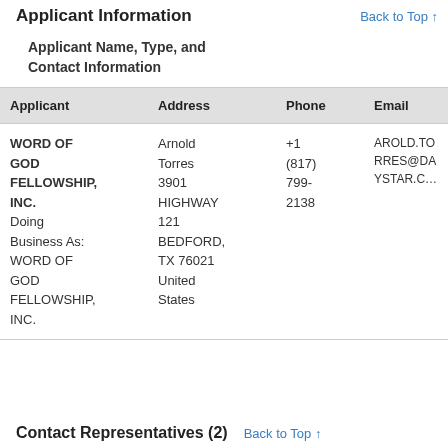Applicant Information
Back to Top ↑
Applicant Name, Type, and Contact Information
| Applicant | Address | Phone | Email |
| --- | --- | --- | --- |
| WORD OF GOD FELLOWSHIP, INC.
Doing Business As: WORD OF GOD FELLOWSHIP, INC. | Arnold Torres 3901 HIGHWAY 121 BEDFORD, TX 76021 United States | +1 (817) 799-2138 | AROLD.TORRES@DAYSTAR.C… |
Contact Representatives (2)
Back to Top ↑